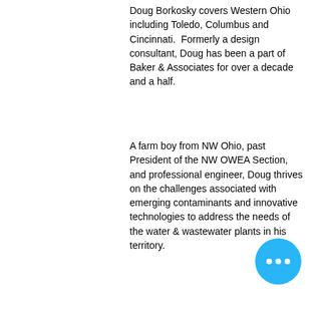Doug Borkosky covers Western Ohio including Toledo, Columbus and Cincinnati. Formerly a design consultant, Doug has been a part of Baker & Associates for over a decade and a half.
A farm boy from NW Ohio, past President of the NW OWEA Section, and professional engineer, Doug thrives on the challenges associated with emerging contaminants and innovative technologies to address the needs of the water & wastewater plants in his territory.
Email Doug
Email Ted
Email Tony
Email Doug
[Figure (photo): Headshot photo of a man with short light hair, smiling slightly, with trees in the background.]